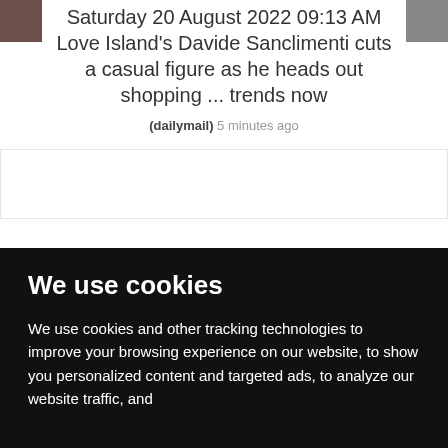Saturday 20 August 2022 09:13 AM Love Island's Davide Sanclimenti cuts a casual figure as he heads out shopping ... trends now
(dailymail) 5 minutes ago
We use cookies
We use cookies and other tracking technologies to improve your browsing experience on our website, to show you personalized content and targeted ads, to analyze our website traffic, and